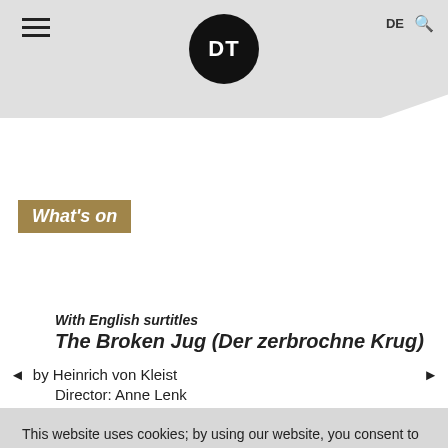DT | DE
What's on
Today  23  24  25  26  27  28  29  30  31
With English surtitles
The Broken Jug (Der zerbrochne Krug)
by Heinrich von Kleist
Director: Anne Lenk
This website uses cookies; by using our website, you consent to their use. You can read more about this in our Privacy Policy.
I AGREE